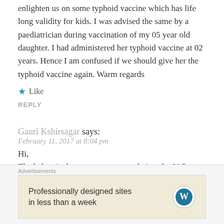enlighten us on some typhoid vaccine which has life long validity for kids. I was advised the same by a paediatrician during vaccination of my 05 year old daughter. I had administered her typhoid vaccine at 02 years. Hence I am confused if we should give her the typhoid vaccine again. Warm regards
Like
REPLY
Gauri Kshirsagar says:
February 11, 2017 at 8:04 pm
Hi,
The below is the newer recommendations by IAP (2016)
There are two types of Typhoid vaccines: Vi-PS conjugate and
Advertisements
Professionally designed sites in less than a week